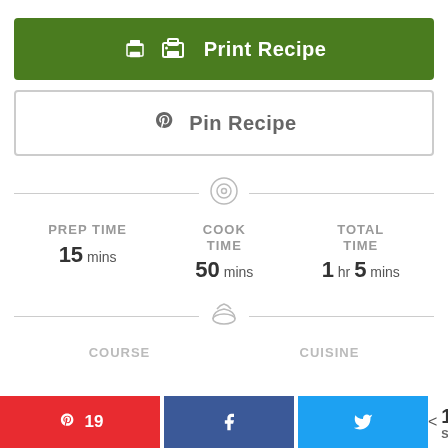Print Recipe
Pin Recipe
PREP TIME 15 mins
COOK TIME 50 mins
TOTAL TIME 1 hr 5 mins
COURSE
CUISINE
19 SHARES